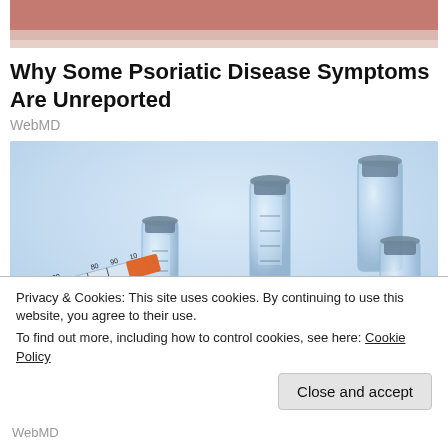[Figure (photo): Partial photo of a person at the top of the page, mostly cropped out showing light background]
Why Some Psoriatic Disease Symptoms Are Unreported
WebMD
[Figure (photo): Photo of medical vials and a syringe with orange cap on a light blue background]
Privacy & Cookies: This site uses cookies. By continuing to use this website, you agree to their use.
To find out more, including how to control cookies, see here: Cookie Policy
Close and accept
WebMD